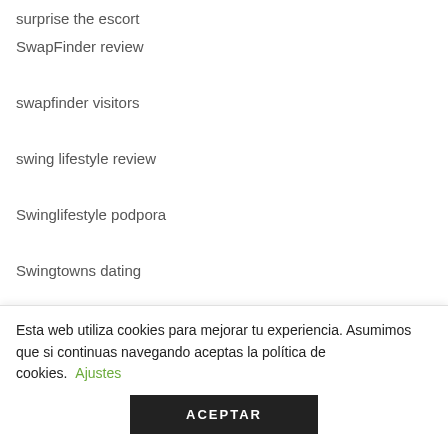surprise the escort
SwapFinder review
swapfinder visitors
swing lifestyle review
Swinglifestyle podpora
Swingtowns dating
Swipe visitors
Syracuse+NY+New York local hookup
Esta web utiliza cookies para mejorar tu experiencia. Asumimos que si continuas navegando aceptas la política de cookies. Ajustes
ACEPTAR